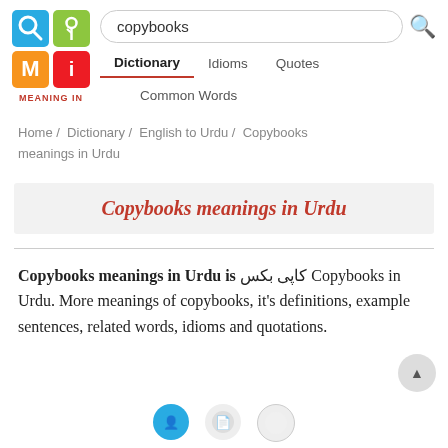[Figure (logo): Meaning In dictionary app logo — four colored squares (blue with magnifying glass, green with plant, orange with M, red/pink with i) arranged in a 2x2 grid, with 'MEANING IN' text in red below]
copybooks
Dictionary   Idioms   Quotes
Common Words
Home / Dictionary / English to Urdu / Copybooks meanings in Urdu
Copybooks meanings in Urdu
Copybooks meanings in Urdu is کاپی بکس Copybooks in Urdu. More meanings of copybooks, it's definitions, example sentences, related words, idioms and quotations.